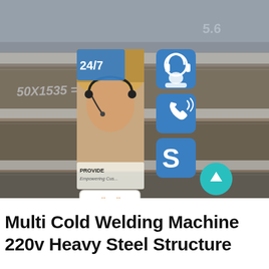[Figure (photo): Stacked heavy steel plates photographed close-up with chalked markings '50X1535=10' visible on the surface. Overlaid UI widgets: 24/7 support badge, contact icons (headset, phone, Skype), customer service representative photo, PROVIDE / Empowering Customers text, online live button, and scroll-to-top teal circular button.]
Multi Cold Welding Machine 220v Heavy Steel Structure